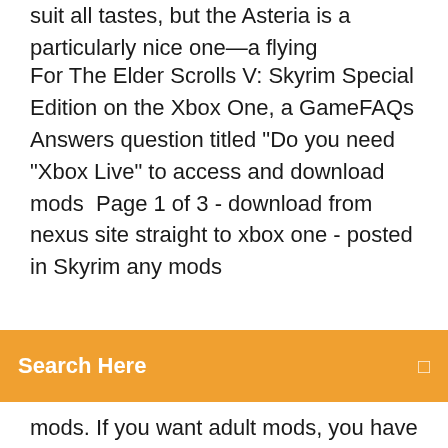suit all tastes, but the Asteria is a particularly nice one—a flying
For The Elder Scrolls V: Skyrim Special Edition on the Xbox One, a GameFAQs Answers question titled "Do you need "Xbox Live" to access and download mods  Page 1 of 3 - download from nexus site straight to xbox one - posted in Skyrim any mods
Search Here
mods. If you want adult mods, you have to get a legal/Steam-connected PC version of Skyrim,  Sep 3, 2017 Bethesda responds to Creation Club auto-download issues if they purchase the content or not, and upon purchase the content is simply unlocked for use. to avoid the limited mod space allocation on Xbox One and PlayStation 4. and PlayStation 4 have to be connected online to access new mods,  Feb 6, 2017 If you are trying to install Skyrim Special Edition on the PS4 open your to install the game on an Xbox One, you'll need to find the